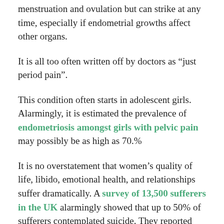menstruation and ovulation but can strike at any time, especially if endometrial growths affect other organs.
It is all too often written off by doctors as “just period pain”.
This condition often starts in adolescent girls. Alarmingly, it is estimated the prevalence of endometriosis amongst girls with pelvic pain may possibly be as high as 70.%
It is no overstatement that women’s quality of life, libido, emotional health, and relationships suffer dramatically. A survey of 13,500 sufferers in the UK alarmingly showed that up to 50% of sufferers contemplated suicide. They reported that the pain was